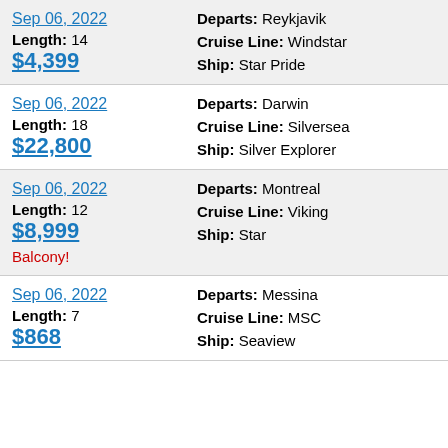Sep 06, 2022 | Length: 14 | $4,399 | Departs: Reykjavik | Cruise Line: Windstar | Ship: Star Pride
Sep 06, 2022 | Length: 18 | $22,800 | Departs: Darwin | Cruise Line: Silversea | Ship: Silver Explorer
Sep 06, 2022 | Length: 12 | $8,999 | Balcony! | Departs: Montreal | Cruise Line: Viking | Ship: Star
Sep 06, 2022 | Length: 7 | $868 | Departs: Messina | Cruise Line: MSC | Ship: Seaview